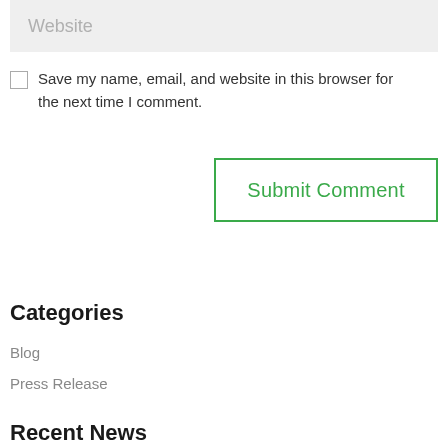Website
Save my name, email, and website in this browser for the next time I comment.
Submit Comment
Categories
Blog
Press Release
Recent News